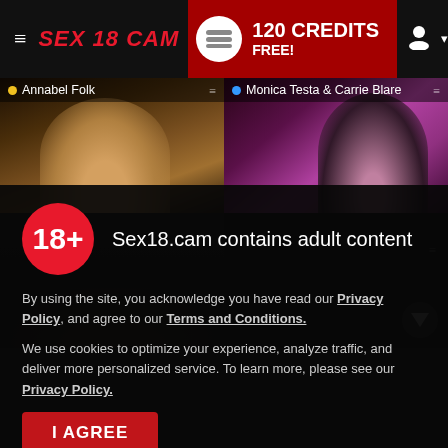SEX 18 CAM — 120 CREDITS FREE!
Annabel Folk
Monica Testa & Carrie Blare
[Figure (screenshot): Two live webcam feeds: left shows a blonde woman in a dark setting, right shows a dark-haired woman in a pink/purple lit room.]
Sex18.cam contains adult content
By using the site, you acknowledge you have read our Privacy Policy, and agree to our Terms and Conditions.
We use cookies to optimize your experience, analyze traffic, and deliver more personalized service. To learn more, please see our Privacy Policy.
I AGREE